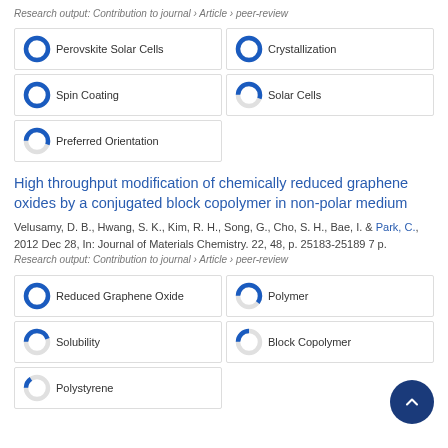Research output: Contribution to journal › Article › peer-review
[Figure (infographic): Keyword badges with donut-style percentage indicators: Perovskite Solar Cells 100%, Crystallization 100%, Spin Coating 100%, Solar Cells ~55%, Preferred Orientation ~55%]
High throughput modification of chemically reduced graphene oxides by a conjugated block copolymer in non-polar medium
Velusamy, D. B., Hwang, S. K., Kim, R. H., Song, G., Cho, S. H., Bae, I. & Park, C., 2012 Dec 28, In: Journal of Materials Chemistry. 22, 48, p. 25183-25189 7 p.
Research output: Contribution to journal › Article › peer-review
[Figure (infographic): Keyword badges: Reduced Graphene Oxide 100%, Polymer ~60%, Solubility ~45%, Block Copolymer ~25%, Polystyrene ~15%]